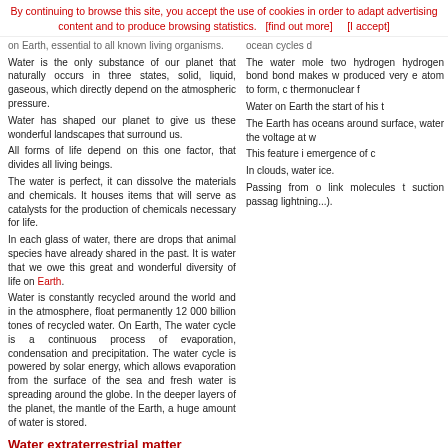By continuing to browse this site, you accept the use of cookies in order to adapt advertising content and to produce browsing statistics.  [find out more]    [I accept]
on Earth, essential to all known living organisms.
Water is the only substance of our planet that naturally occurs in three states, solid, liquid, gaseous, which directly depend on the atmospheric pressure.
Water has shaped our planet to give us these wonderful landscapes that surround us.
All forms of life depend on this one factor, that divides all living beings.
The water is perfect, it can dissolve the materials and chemicals. It houses items that will serve as catalysts for the production of chemicals necessary for life.
In each glass of water, there are drops that animal species have already shared in the past. It is water that we owe this great and wonderful diversity of life on Earth.
Water is constantly recycled around the world and in the atmosphere, float permanently 12 000 billion tones of recycled water. On Earth, The water cycle is a continuous process of evaporation, condensation and precipitation. The water cycle is powered by solar energy, which allows evaporation from the surface of the sea and fresh water is spreading around the globe. In the deeper layers of the planet, the mantle of the Earth, a huge amount of water is stored.
The water mole two hydrogen hydrogen bond bond makes w produced very e atom to form, c thermonuclear f Water on Earth the start of his t The Earth has oceans around surface, water the voltage at w This feature i emergence of c In clouds, water ice. Passing from o link molecules t suction passa lightning...).
Water extraterrestrial matter